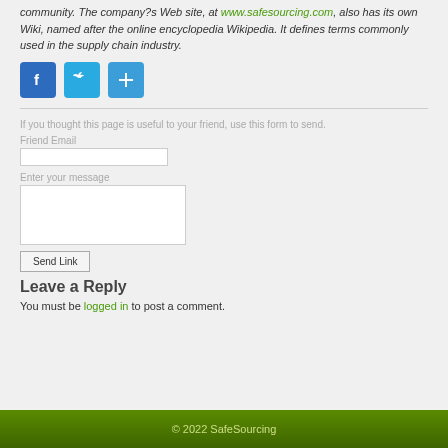community. The company?s Web site, at www.safesourcing.com, also has its own Wiki, named after the online encyclopedia Wikipedia. It defines terms commonly used in the supply chain industry.
[Figure (infographic): Social sharing buttons: Facebook (blue), Twitter (light blue), and a plus/share button (blue)]
If you thought this page is useful to your friend, use this form to send.
Friend Email
Enter your message
Send Link
Leave a Reply
You must be logged in to post a comment.
© 2022 SafeSourcing